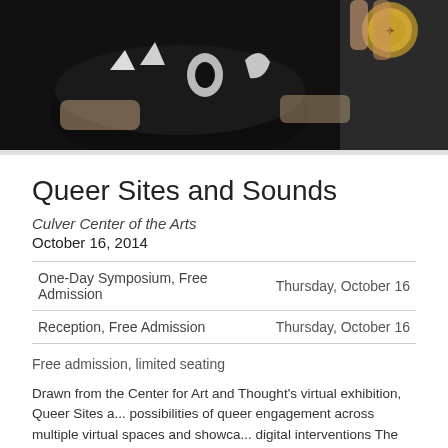[Figure (photo): Close-up photograph of hands holding a dark ceramic bowl with white graphic designs, against a dark background]
Queer Sites and Sounds
Culver Center of the Arts
October 16, 2014
|  |  |
| --- | --- |
| One-Day Symposium, Free Admission | Thursday, October 16 |
| Reception, Free Admission | Thursday, October 16 |
Free admission, limited seating
Drawn from the Center for Art and Thought's virtual exhibition, Queer Sites a... possibilities of queer engagement across multiple virtual spaces and showca... digital interventions The works included here and online challenge and exce... and processes are conventionally understood and how they are entangled w... practices virtually and offline.
The Queer Sites and Sounds exhibition at Culver Center of the arts features... Marcelo Junio, Kat Larson, Miguel Libarnes, Gina Osterloh, Jeffrey Augustin... Wilson. The symposium will feature the curator of the exhibition and its artis...